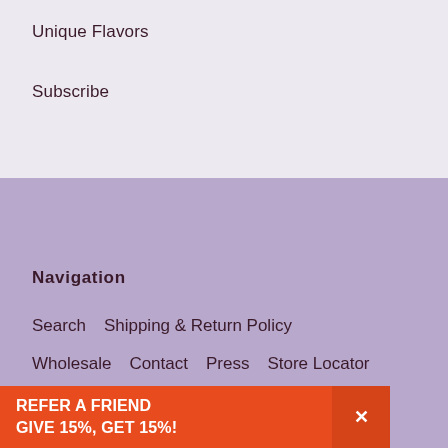Unique Flavors
Subscribe
Navigation
Search    Shipping & Return Policy
Wholesale    Contact    Press    Store Locator
Privacy Policy
REFER A FRIEND GIVE 15%, GET 15%!